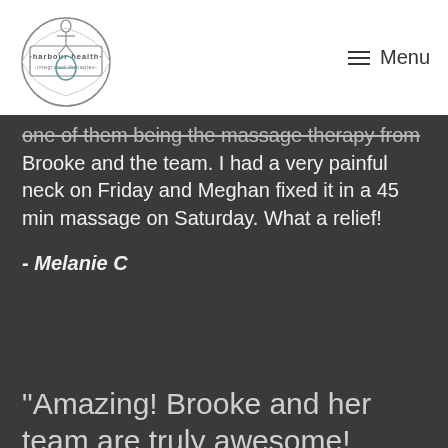harbour health · integrated therapies · [logo] Menu
one of them being the massage therapy from Brooke and the team. I had a very painful neck on Friday and Meghan fixed it in a 45 min massage on Saturday. What a relief!
- Melanie C
"Amazing! Brooke and her team are truly awesome!